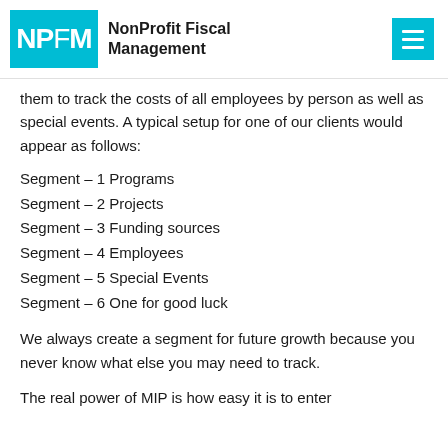NPFM NonProfit Fiscal Management
them to track the costs of all employees by person as well as special events. A typical setup for one of our clients would appear as follows:
Segment – 1 Programs
Segment – 2 Projects
Segment – 3 Funding sources
Segment – 4 Employees
Segment – 5 Special Events
Segment – 6 One for good luck
We always create a segment for future growth because you never know what else you may need to track.
The real power of MIP is how easy it is to enter